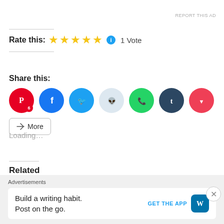REPORT THIS AD
Rate this: ★★★★★ 1 Vote
Share this:
[Figure (infographic): Social share icons: Pinterest (with badge 6), Facebook, Twitter, Reddit, WhatsApp, Tumblr, Pocket, and a More button]
Loading...
Related
[Figure (photo): Image titled 'Becoming You..' with muted blue-grey background]
[Figure (photo): Image with green grassy background and a quote about the present, with a person visible]
Advertisements
Build a writing habit. Post on the go.
GET THE APP